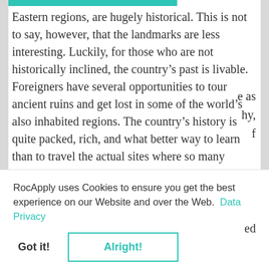Eastern regions, are hugely historical. This is not to say, however, that the landmarks are less interesting. Luckily, for those who are not historically inclined, the country's past is livable. Foreigners have several opportunities to tour ancient ruins and get lost in some of the world's also inhabited regions. The country's history is quite packed, rich, and what better way to learn than to travel the actual sites where so many
RocApply uses Cookies to ensure you get the best experience on our Website and over the Web. Data Privacy
Got it!   Alright!
with the number of excursions there are in